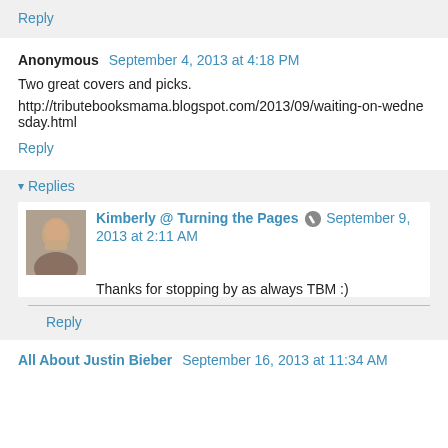Reply
Anonymous  September 4, 2013 at 4:18 PM
Two great covers and picks.
http://tributebooksmama.blogspot.com/2013/09/waiting-on-wednesday.html
Reply
Replies
Kimberly @ Turning the Pages  September 9, 2013 at 2:11 AM
Thanks for stopping by as always TBM :)
Reply
All About Justin Bieber  September 16, 2013 at 11:34 AM